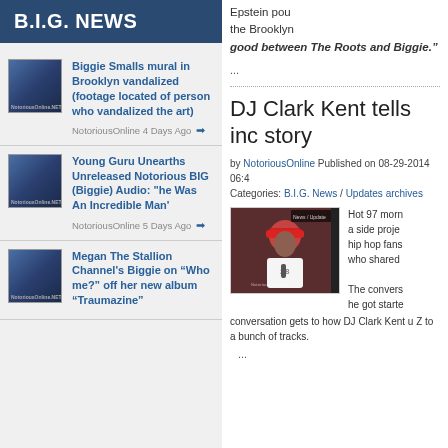B.I.G. NEWS
Biggie Smalls mural in Brooklyn vandalized (footage located of person who vandalized the art) — NotoriousOnline 4 Days Ago
Young Guru Unearths Unreleased Notorious BIG (Biggie) Audio: "he Was An Incredible Man' — NotoriousOnline 5 Days Ago
Megan The Stallion Channel's Biggie on "Who me?" off her new album "Traumazine"
Epstein pou the Brooklyn good between The Roots and Biggie."
...
DJ Clark Kent tells inc story
by NotoriousOnline Published on 08-29-2014 06:4
Categories: B.I.G. News / Updates archives
[Figure (photo): Video thumbnail showing DJ Clark Kent wearing a red cap, with caption bar 'DJ CLARK KENT TELLS INCREDIBLE NOTORIOUS B.I.G AND JAY Z STORY' and a News/Update badge]
Hot 97 morn a side proje hip hop fans who shared The convers he got starte conversation gets to how DJ Clark Kent u Z to a bunch of tracks.
...